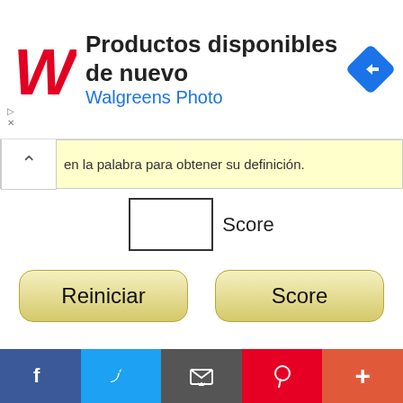[Figure (screenshot): Walgreens Photo advertisement banner with red W logo, text 'Productos disponibles de nuevo' and 'Walgreens Photo', and a blue diamond navigation arrow icon]
en la palabra para obtener su definición.
Score
Reiniciar
Score
[Figure (screenshot): Social media share bar with Facebook, Twitter, Email, Pinterest, and More buttons]